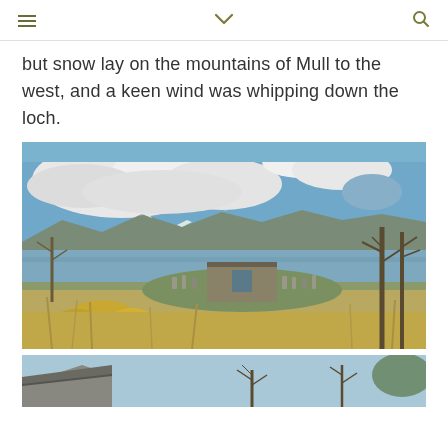≡  ∨  🔍
but snow lay on the mountains of Mull to the west, and a keen wind was whipping down the loch.
[Figure (photo): Outdoor landscape photograph showing a historic graveyard/cemetery ruin beside a loch (lake) in Scotland. In the foreground are dry grasses and yellow gorse bushes. Stone grave markers and a ruined stone chapel/church wall are visible in the middle ground. Behind them is a broad loch with blue water reflecting the sky. Mountains appear snow-dusted in the background. The sky above is blue with large white clouds. Bare trees frame the right side.]
[Figure (photo): Partial photograph at the bottom of the page showing what appears to be a building roofline and bare trees against a blue sky.]